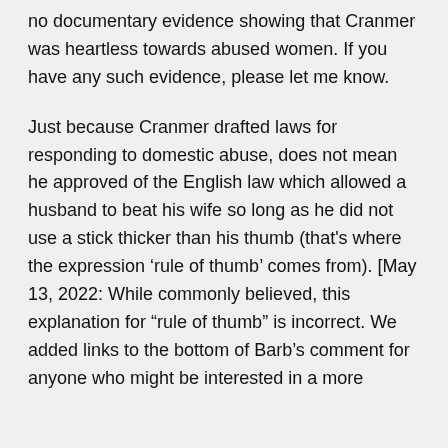no documentary evidence showing that Cranmer was heartless towards abused women. If you have any such evidence, please let me know.
Just because Cranmer drafted laws for responding to domestic abuse, does not mean he approved of the English law which allowed a husband to beat his wife so long as he did not use a stick thicker than his thumb (that's where the expression ‘rule of thumb’ comes from). [May 13, 2022: While commonly believed, this explanation for “rule of thumb” is incorrect. We added links to the bottom of Barb’s comment for anyone who might be interested in a more